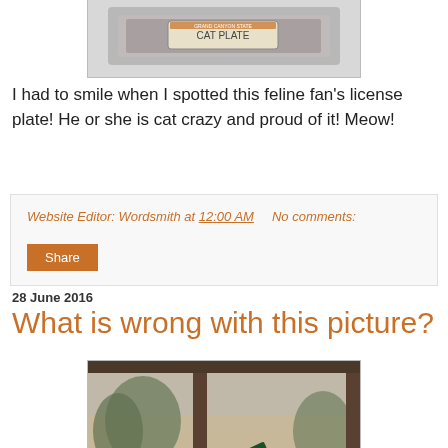[Figure (photo): Partial view of a license plate photo, cropped at top]
I had to smile when I spotted this feline fan's license plate! He or she is cat crazy and proud of it! Meow!
Website Editor: Wordsmith at 12:00 AM    No comments:
Share
28 June 2016
What is wrong with this picture?
[Figure (photo): Photo of an overturned green dumpster under a covered area, with debris scattered around, trees and a wall visible in the background]